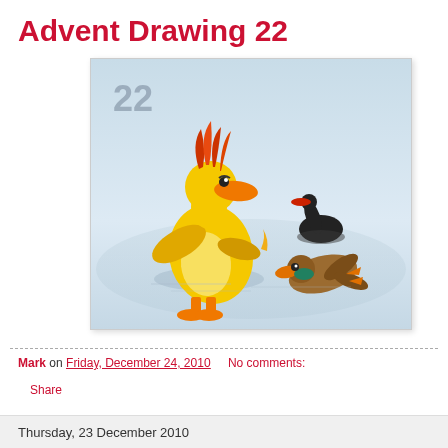Advent Drawing 22
[Figure (illustration): Cartoon illustration of two ducks on a reflective water surface. A large yellow duck with orange-red head feathers stands confidently in the foreground. A smaller brownish duck lies knocked down in the background. A black swan swims in the far background. The number '22' appears in the upper left of the image in blue-grey.]
Mark on Friday, December 24, 2010   No comments:
Share
Thursday, 23 December 2010